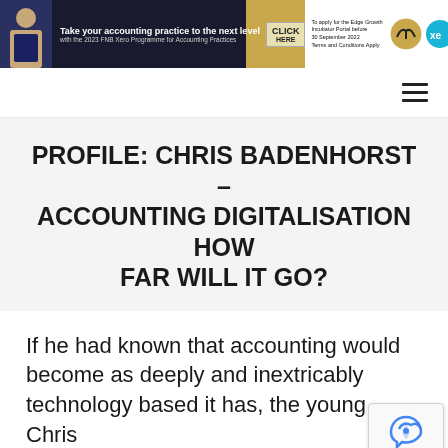[Figure (infographic): FNB Xero Programme for Accounting Practices banner advertisement with person at desk, click here button, logos and text]
PROFILE: CHRIS BADENHORST – ACCOUNTING DIGITALISATION HOW FAR WILL IT GO?
If he had known that accounting would become as deeply and inextricably technology based it has, the young Chris